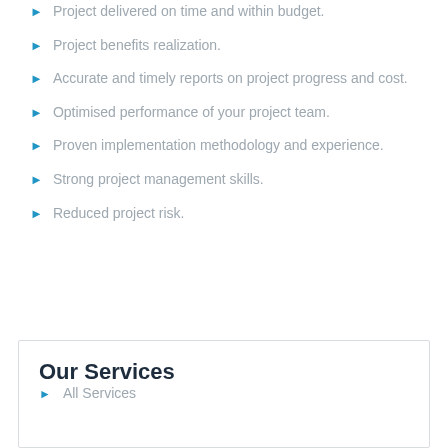Project delivered on time and within budget.
Project benefits realization.
Accurate and timely reports on project progress and cost.
Optimised performance of your project team.
Proven implementation methodology and experience.
Strong project management skills.
Reduced project risk.
Our Services
All Services